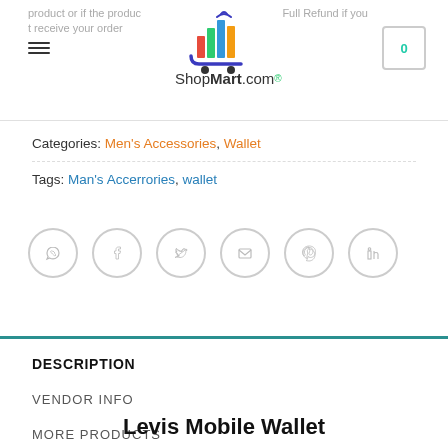ShopMart.com
Categories: Men's Accessories, Wallet
Tags: Man's Accerrories, wallet
[Figure (infographic): Row of six social media share icons: WhatsApp, Facebook, Twitter, Email, Pinterest, LinkedIn — all in light grey circle outlines]
DESCRIPTION
VENDOR INFO
MORE PRODUCTS
Levis Mobile Wallet